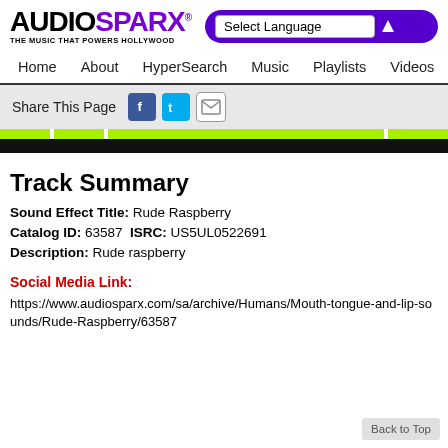AUDIOSPARX — THE MUSIC THAT POWERS HOLLYWOOD
Track Summary
Sound Effect Title: Rude Raspberry
Catalog ID: 63587  ISRC: US5UL0522691
Description: Rude raspberry
Social Media Link:
https://www.audiosparx.com/sa/archive/Humans/Mouth-tongue-and-lip-sounds/Rude-Raspberry/63587